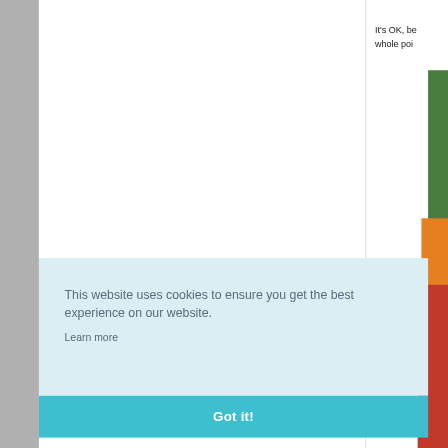It's OK, be... whole poi...
This website uses cookies to ensure you get the best experience on our website.
Learn more
Got it!